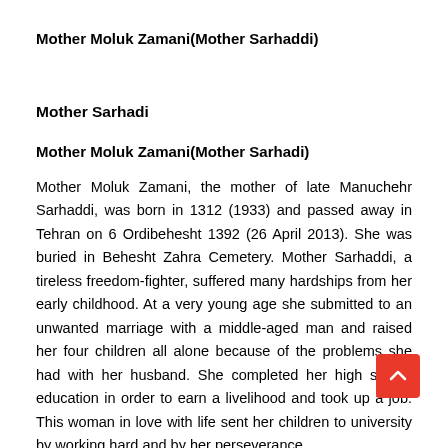Mother Moluk Zamani(Mother Sarhaddi)
Mother Sarhadi
Mother Moluk Zamani(Mother Sarhadi)
Mother Moluk Zamani, the mother of late Manuchehr Sarhaddi, was born in 1312 (1933) and passed away in Tehran on 6 Ordibehesht 1392 (26 April 2013). She was buried in Behesht Zahra Cemetery. Mother Sarhaddi, a tireless freedom-fighter, suffered many hardships from her early childhood. At a very young age she submitted to an unwanted marriage with a middle-aged man and raised her four children all alone because of the problems she had with her husband. She completed her high school education in order to earn a livelihood and took up a job. This woman in love with life sent her children to university by working hard and by her perseverance.